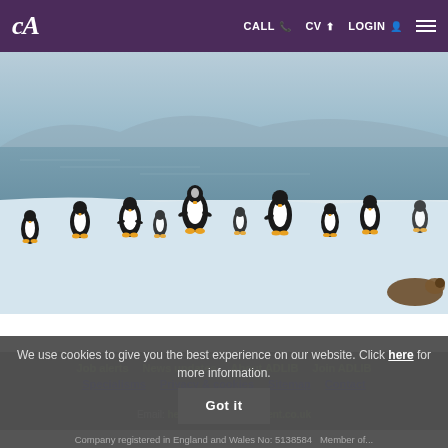ADLIB logo | CALL | CV | LOGIN | Menu
[Figure (photo): A large group of black-and-white penguins standing on a snowy/icy shore with a body of water and mountains in the background.]
Job alerts   News updates   About ADLIB   Join ADLIB
Specialisms   Privacy & cookies   Sitemap   Contact
We use cookies to give you the best experience on our website. Click here for more information.
Call: 0117 926 9530
Email: hello@adlibRecruitment.co.uk
Company registered in England and Wales No: 5138584 Member of...